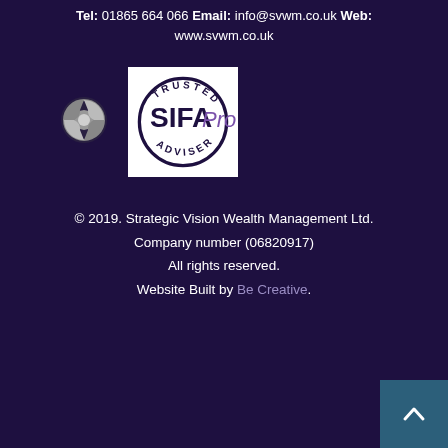Tel: 01865 664 066 Email: info@svwm.co.uk Web:
www.svwm.co.uk
[Figure (logo): ICO logo — circular grey privacy seal icon]
[Figure (logo): SIFA Pro Trusted Adviser badge on white square background]
© 2019. Strategic Vision Wealth Management Ltd. Company number (06820917) All rights reserved. Website Built by Be Creative.